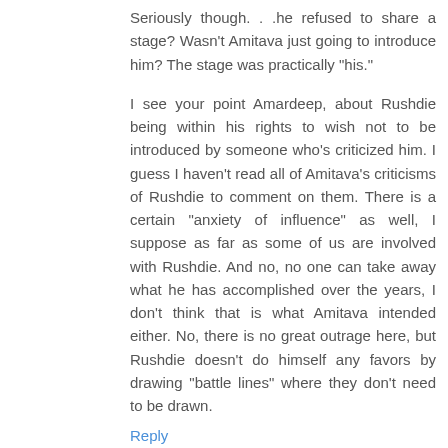Seriously though. . .he refused to share a stage? Wasn't Amitava just going to introduce him? The stage was practically "his."
I see your point Amardeep, about Rushdie being within his rights to wish not to be introduced by someone who's criticized him. I guess I haven't read all of Amitava's criticisms of Rushdie to comment on them. There is a certain "anxiety of influence" as well, I suppose as far as some of us are involved with Rushdie. And no, no one can take away what he has accomplished over the years, I don't think that is what Amitava intended either. No, there is no great outrage here, but Rushdie doesn't do himself any favors by drawing "battle lines" where they don't need to be drawn.
Reply
Anonymous 2:14 PM
I feel that Rushdie's antagonism with Amitava probably runs deeper than an objective critique with a not-so-